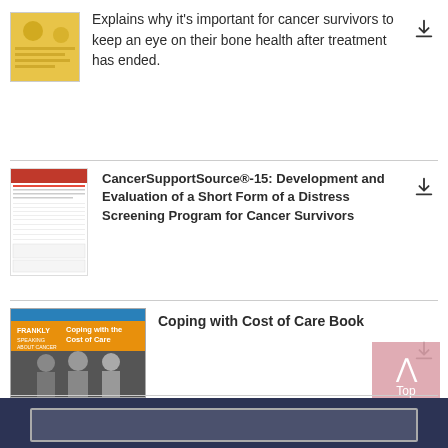[Figure (illustration): Thumbnail image with golden/yellow background, appears to be a health-related pamphlet or brochure cover]
Explains why it's important for cancer survivors to keep an eye on their bone health after treatment has ended.
[Figure (illustration): Thumbnail image of CancerSupportSource-15 document/form with red header and table content]
CancerSupportSource®-15: Development and Evaluation of a Short Form of a Distress Screening Program for Cancer Survivors
[Figure (illustration): Book cover for 'Coping with the Cost of Care' showing three people in black and white photo, blue and orange header]
Coping with Cost of Care Book